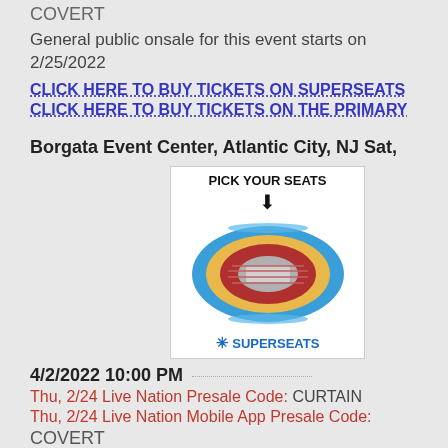COVERT
General public onsale for this event starts on 2/25/2022
CLICK HERE TO BUY TICKETS ON SUPERSEATS
CLICK HERE TO BUY TICKETS ON THE PRIMARY
Borgata Event Center, Atlantic City, NJ Sat,
[Figure (illustration): Venue seat map graphic with PICK YOUR SEATS label, a down arrow, a circular arena diagram in red/blue/yellow colors, and SUPERSEATS logo at the bottom.]
4/2/2022 10:00 PM
Thu, 2/24 Live Nation Presale Code: CURTAIN
Thu, 2/24 Live Nation Mobile App Presale Code:
COVERT